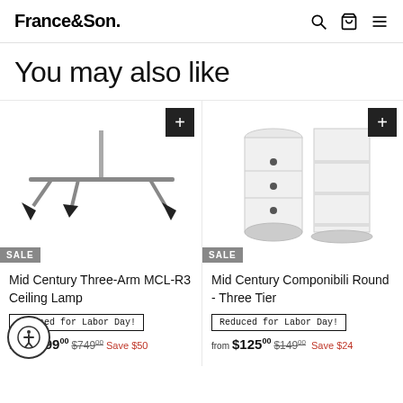France&Son
You may also like
[Figure (photo): Mid Century Three-Arm MCL-R3 Ceiling Lamp product photo on white background]
SALE
Mid Century Three-Arm MCL-R3 Ceiling Lamp
Reduced for Labor Day!
from $699.00 $749.00 Save $50
[Figure (photo): Mid Century Componibili Round - Three Tier product photo showing white cylindrical storage unit with shelving unit]
SALE
Mid Century Componibili Round - Three Tier
Reduced for Labor Day!
from $125.00 $149.00 Save $24
[Figure (photo): Partial view of a third product (Jeanneret) on white background]
SALE
Jeanner
Reduced for Labor Day!
from $45. Save $5.